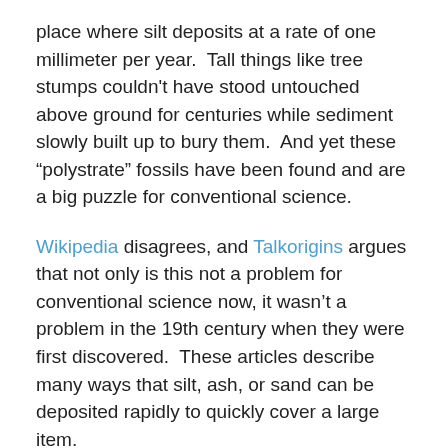place where silt deposits at a rate of one millimeter per year.  Tall things like tree stumps couldn't have stood untouched above ground for centuries while sediment slowly built up to bury them.  And yet these “polystrate” fossils have been found and are a big puzzle for conventional science.
Wikipedia disagrees, and Talkorigins argues that not only is this not a problem for conventional science now, it wasn’t a problem in the 19th century when they were first discovered.  These articles describe many ways that silt, ash, or sand can be deposited rapidly to quickly cover a large item.
Another bit of evidence comes from Mount St. Helens.  Shortly after it exploded in 1980, Creationists found small canyons that looked like miniature Grand Canyons.  Well,